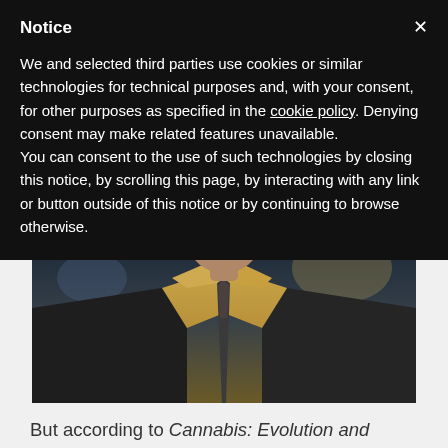Notice
We and selected third parties use cookies or similar technologies for technical purposes and, with your consent, for other purposes as specified in the cookie policy. Denying consent may make related features unavailable.
You can consent to the use of such technologies by closing this notice, by scrolling this page, by interacting with any link or button outside of this notice or by continuing to browse otherwise.
[Figure (photo): Video thumbnail showing a man in a dark suit and yellow/gold tie, seen from chest up, against a blurred office background]
But according to Cannabis: Evolution and Ethnobotany, the attraction was more than intoxication and medication: marijuana made people feel “spiritual.”
They used it in religious ceremonies, and to help them see